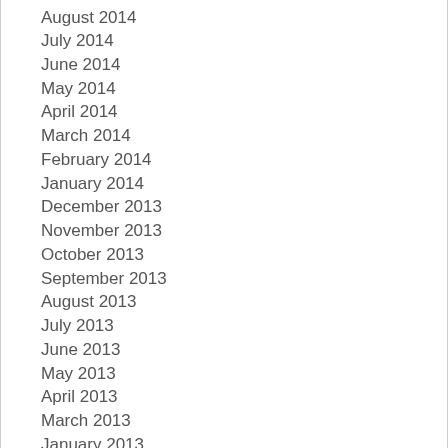August 2014
July 2014
June 2014
May 2014
April 2014
March 2014
February 2014
January 2014
December 2013
November 2013
October 2013
September 2013
August 2013
July 2013
June 2013
May 2013
April 2013
March 2013
January 2013
December 2012
November 2012
October 2012